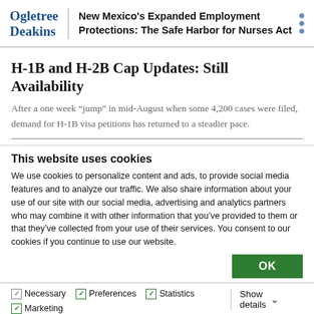Ogletree Deakins | New Mexico's Expanded Employment Protections: The Safe Harbor for Nurses Act
H-1B and H-2B Cap Updates: Still Availability
After a one week “jump” in mid-August when some 4,200 cases were filed, demand for H-1B visa petitions has returned to a steadier pace.
This website uses cookies
We use cookies to personalize content and ads, to provide social media features and to analyze our traffic. We also share information about your use of our site with our social media, advertising and analytics partners who may combine it with other information that you’ve provided to them or that they’ve collected from your use of their services. You consent to our cookies if you continue to use our website.